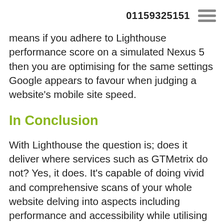01159325151
means if you adhere to Lighthouse performance score on a simulated Nexus 5 then you are optimising for the same settings Google appears to favour when judging a website's mobile site speed.
In Conclusion
With Lighthouse the question is; does it deliver where services such as GTMetrix do not? Yes, it does. It's capable of doing vivid and comprehensive scans of your whole website delving into aspects including performance and accessibility while utilising some device throttling simulation to give more realistic results than the conventional method of scanning your website. It's